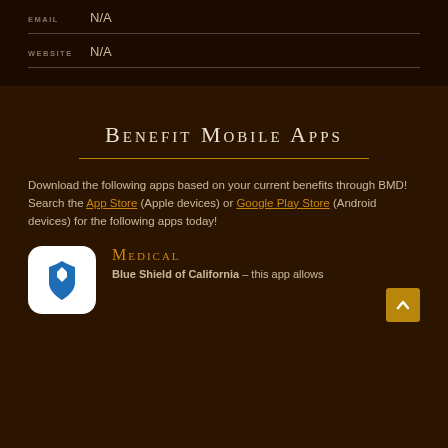EMAIL N/A
WEBSITE N/A
Benefit Mobile Apps
Download the following apps based on your current benefits through BMD! Search the App Store (Apple devices) or Google Play Store (Android devices) for the following apps today!
Medical
Blue Shield of California – this app allows